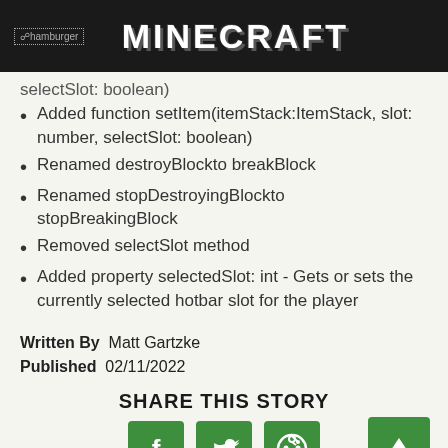MINECRAFT
selectSlot: boolean)
Added function setItem(itemStack:ItemStack, slot: number, selectSlot: boolean)
Renamed destroyBlockto breakBlock
Renamed stopDestroyingBlockto stopBreakingBlock
Removed selectSlot method
Added property selectedSlot: int - Gets or sets the currently selected hotbar slot for the player
Written By  Matt Gartzke
Published  02/11/2022
SHARE THIS STORY
[Figure (infographic): Social share buttons: Facebook, Twitter, Reddit icons in green squares, plus a scroll-to-top green button]